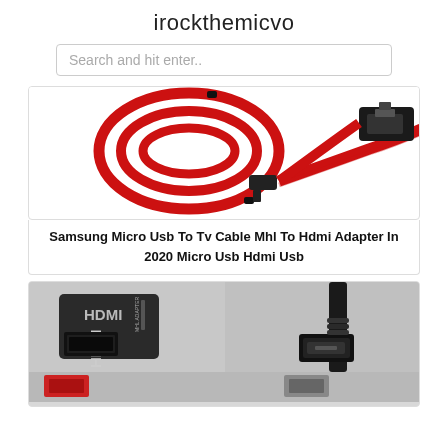irockthemicvo
Search and hit enter..
[Figure (photo): Red MHL to HDMI cable coiled and connectors on white background]
Samsung Micro Usb To Tv Cable Mhl To Hdmi Adapter In 2020 Micro Usb Hdmi Usb
[Figure (photo): HDMI adapter (black) and micro USB connector cable on light background, with additional product thumbnails below]